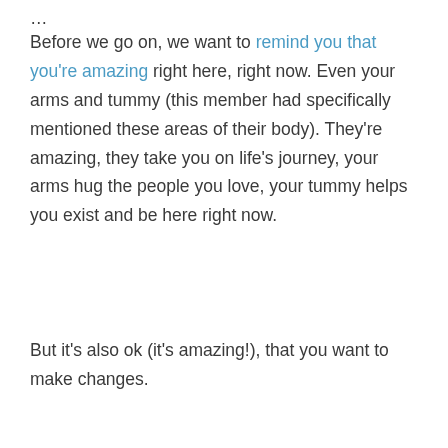Before we go on, we want to remind you that you're amazing right here, right now. Even your arms and tummy (this member had specifically mentioned these areas of their body). They're amazing, they take you on life's journey, your arms hug the people you love, your tummy helps you exist and be here right now.
But it's also ok (it's amazing!), that you want to make changes.